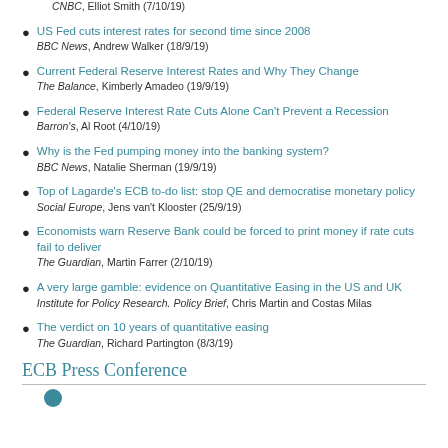CNBC, Elliot Smith (7/10/19)
US Fed cuts interest rates for second time since 2008
BBC News, Andrew Walker (18/9/19)
Current Federal Reserve Interest Rates and Why They Change
The Balance, Kimberly Amadeo (19/9/19)
Federal Reserve Interest Rate Cuts Alone Can't Prevent a Recession
Barron's, Al Root (4/10/19)
Why is the Fed pumping money into the banking system?
BBC News, Natalie Sherman (19/9/19)
Top of Lagarde's ECB to-do list: stop QE and democratise monetary policy
Social Europe, Jens van't Klooster (25/9/19)
Economists warn Reserve Bank could be forced to print money if rate cuts fail to deliver
The Guardian, Martin Farrer (2/10/19)
A very large gamble: evidence on Quantitative Easing in the US and UK
Institute for Policy Research. Policy Brief, Chris Martin and Costas Milas
The verdict on 10 years of quantitative easing
The Guardian, Richard Partington (8/3/19)
ECB Press Conference